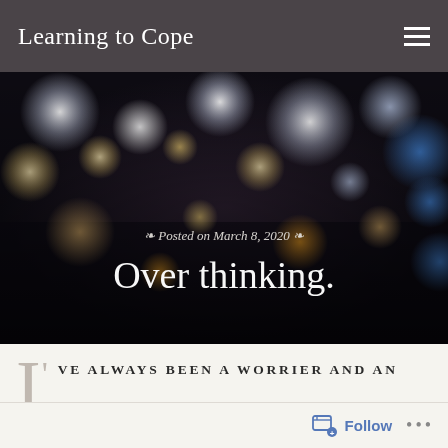Learning to Cope
[Figure (photo): Blurred bokeh background photo with warm orange, gold, blue and white circular light blurs on a dark background. Overlaid text reads 'Posted on March 8, 2020' and 'Over thinking.']
Posted on March 8, 2020
Over thinking.
I've always been a worrier and an overthinker, I'll analyse a situation and talk it to death sometimes. I'm gradually learning to just let things be a lot more. I'm starting practise what I